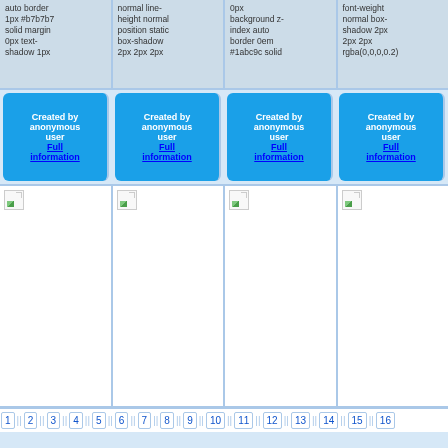auto border 1px #b7b7b7 solid margin 0px text-shadow 1px
normal line-height normal position static box-shadow 2px 2px 2px
0px background z-index auto border 0em #1abc9c solid
font-weight normal box-shadow 2px 2px 2px rgba(0,0,0,0.2)
Created by anonymous user Full information
Created by anonymous user Full information
Created by anonymous user Full information
Created by anonymous user Full information
[Figure (photo): Broken image placeholder 1]
[Figure (photo): Broken image placeholder 2]
[Figure (photo): Broken image placeholder 3]
[Figure (photo): Broken image placeholder 4]
1 2 3 4 5 6 7 8 9 10 11 12 13 14 15 16